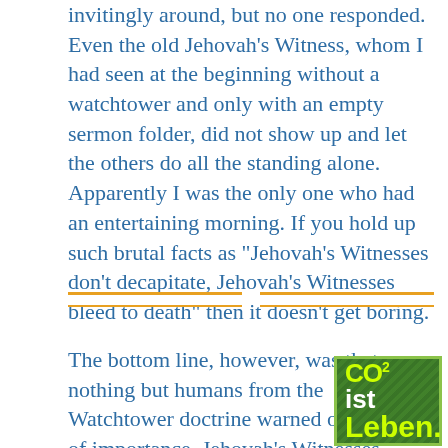invitingly around, but no one responded. Even the old Jehovah's Witness, whom I had seen at the beginning without a watchtower and only with an empty sermon folder, did not show up and let the others do all the standing alone. Apparently I was the only one who had an entertaining morning. If you hold up such brutal facts as "Jehovah's Witnesses don't decapitate, Jehovah's Witnesses bleed to death" then it doesn't get boring.
The bottom line, however, was that nothing but humans from the Watchtower doctrine warned of anything of importance. Jehovah's Witnesses willingly formed the backdrop to my urgent warning and the weather was fine. The result that is relevant to Jehovah's Witnesses are a few noted hours, which then sink in the
[Figure (logo): Green badge/logo with 'CO2 ist Leben.' text in yellow-green on a dark green leafy background, bordered in light green.]